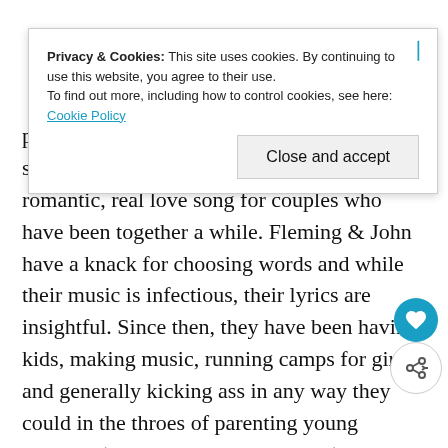[Figure (screenshot): Cookie consent banner overlay with text about privacy and cookies, a 'Close and accept' button, and an X icon in the top right corner.]
produced in 90s were incredible. My favorite song "Comfortable" has got to be the most romantic, real love song for couples who have been together a while. Fleming & John have a knack for choosing words and while their music is infectious, their lyrics are insightful. Since then, they have been having kids, making music, running camps for girls, and generally kicking ass in any way they could in the throes of parenting young children (can I get an amen to that?). My excitement was indescribable when I heard they were ready to release another album. I have no doubt that they have grown as artists, both separately and together, and will discover new ways writing and connecting with their audience. If I had the money, I would pledge so I could write a song with them. In some ways though, their albums have been so joyful, I feel like I already have.